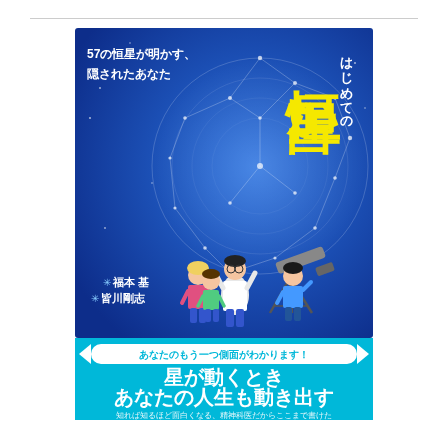[Figure (illustration): Book cover of 'はじめての恒星占い' (First Star Fortune Telling) with deep blue background showing constellation circle, large yellow Japanese title text, subtitle '57の恒星が明かす、隠されたあなた', authors 福本基 and 皆川剛志, and illustrated characters (children and scientist) looking through telescope. Bottom section is cyan/light blue with promotional text.]